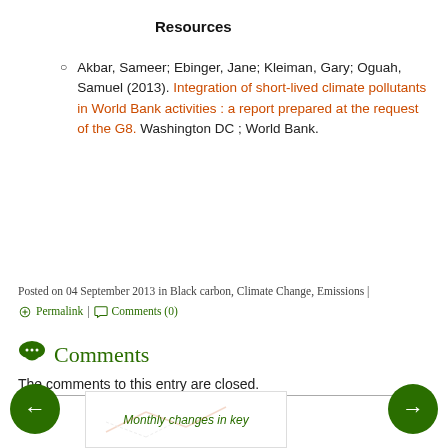Resources
Akbar, Sameer; Ebinger, Jane; Kleiman, Gary; Oguah, Samuel (2013). Integration of short-lived climate pollutants in World Bank activities : a report prepared at the request of the G8. Washington DC ; World Bank.
Posted on 04 September 2013 in Black carbon, Climate Change, Emissions | Permalink | Comments (0)
Comments
The comments to this entry are closed.
[Figure (other): Navigation arrows (left and right) and a thumbnail preview labeled 'Monthly changes in key']